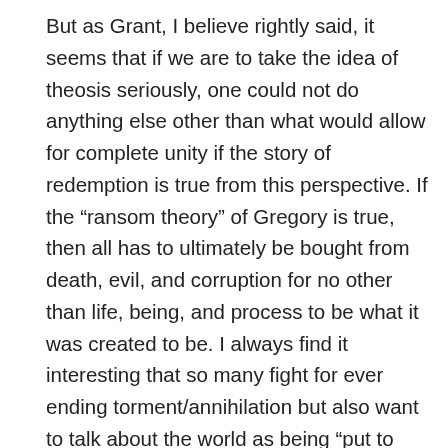But as Grant, I believe rightly said, it seems that if we are to take the idea of theosis seriously, one could not do anything else other than what would allow for complete unity if the story of redemption is true from this perspective. If the “ransom theory” of Gregory is true, then all has to ultimately be bought from death, evil, and corruption for no other than life, being, and process to be what it was created to be. I always find it interesting that so many fight for ever ending torment/annihilation but also want to talk about the world as being “put to rights.” The scales of ultimate justice, which in other religious traditions is the polar opposite of mercy, have to be balanced. If God is to be uniquely simple, balance would have to be a quality He would